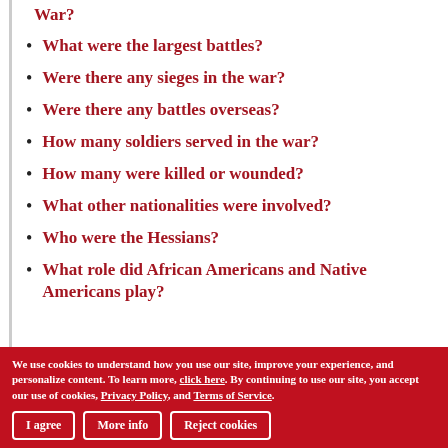War?
What were the largest battles?
Were there any sieges in the war?
Were there any battles overseas?
How many soldiers served in the war?
How many were killed or wounded?
What other nationalities were involved?
Who were the Hessians?
What role did African Americans and Native Americans play?
We use cookies to understand how you use our site, improve your experience, and personalize content. To learn more, click here. By continuing to use our site, you accept our use of cookies, Privacy Policy, and Terms of Service.